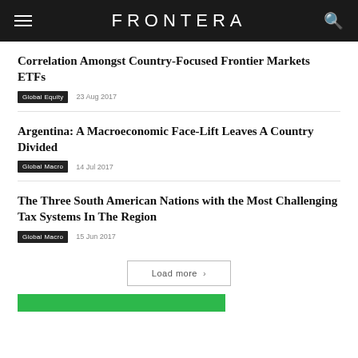FRONTERA
Correlation Amongst Country-Focused Frontier Markets ETFs
Global Equity  23 Aug 2017
Argentina: A Macroeconomic Face-Lift Leaves A Country Divided
Global Macro  14 Jul 2017
The Three South American Nations with the Most Challenging Tax Systems In The Region
Global Macro  15 Jun 2017
Load more >